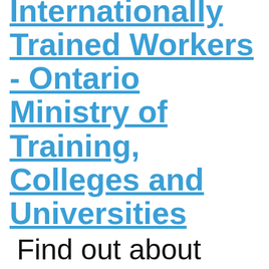Internationally Trained Workers - Ontario Ministry of Training, Colleges and Universities
Find out about Ontario's licensing/registration